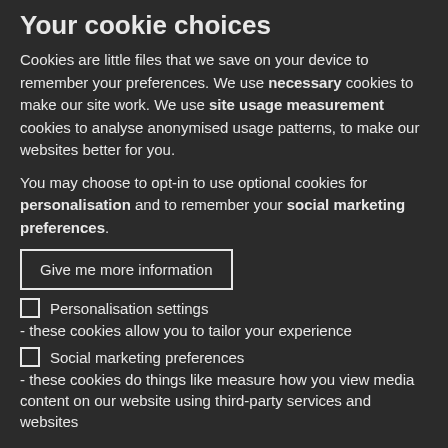Your cookie choices
Cookies are little files that we save on your device to remember your preferences. We use necessary cookies to make our site work. We use site usage measurement cookies to analyse anonymised usage patterns, to make our websites better for you.
You may choose to opt-in to use optional cookies for personalisation and to remember your social marketing preferences.
Give me more information
Personalisation settings - these cookies allow you to tailor your experience
Social marketing preferences - these cookies do things like measure how you view media content on our website using third-party services and websites